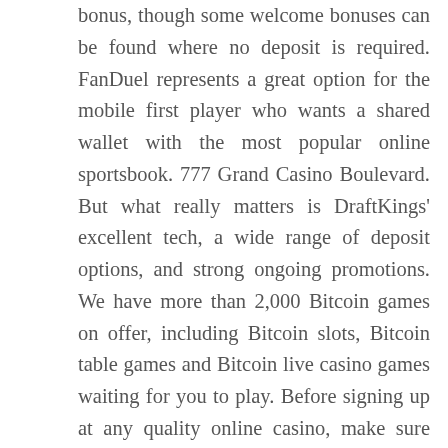bonus, though some welcome bonuses can be found where no deposit is required. FanDuel represents a great option for the mobile first player who wants a shared wallet with the most popular online sportsbook. 777 Grand Casino Boulevard. But what really matters is DraftKings' excellent tech, a wide range of deposit options, and strong ongoing promotions. We have more than 2,000 Bitcoin games on offer, including Bitcoin slots, Bitcoin table games and Bitcoin live casino games waiting for you to play. Before signing up at any quality online casino, make sure you read over the available deposit and withdrawal methods to make sure you can conduct your transactions securely. Their head office is located in the Isle of Man, from where they offer over 800 game titles. Boomtown gets overlooked for being a smaller casino. All top rated online casinos go through the same process, and we assure you that all our independent casino reviews are